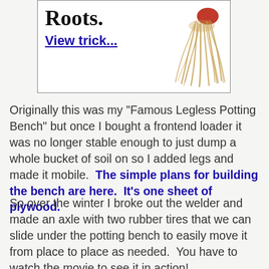[Figure (other): Advertisement box with text 'Roots.' and a bold blue link 'View trick...' alongside an image of plant roots on a white background with a border.]
Originally this was my “Famous Legless Potting Bench” but once I bought a frontend loader it was no longer stable enough to just dump a whole bucket of soil on so I added legs and made it mobile.  The simple plans for building the bench are here.  It’s one sheet of plywood.
So over the winter I broke out the welder and made an axle with two rubber tires that we can slide under the potting bench to easily move it from place to place as needed.  You have to watch the movie to see it in action!